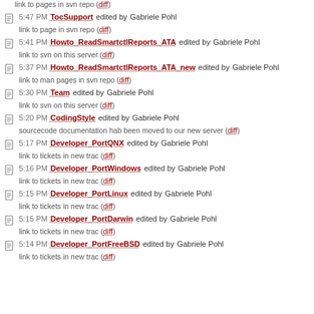link to pages in svn repo (diff)
5:47 PM TocSupport edited by Gabriele Pohl
link to page in svn repo (diff)
5:41 PM Howto_ReadSmartctlReports_ATA edited by Gabriele Pohl
link to svn on this server (diff)
5:37 PM Howto_ReadSmartctlReports_ATA_new edited by Gabriele Pohl
link to man pages in svn repo (diff)
5:30 PM Team edited by Gabriele Pohl
link to svn on this server (diff)
5:20 PM CodingStyle edited by Gabriele Pohl
sourcecode documentation hab been moved to our new server (diff)
5:17 PM Developer_PortQNX edited by Gabriele Pohl
link to tickets in new trac (diff)
5:16 PM Developer_PortWindows edited by Gabriele Pohl
link to tickets in new trac (diff)
5:15 PM Developer_PortLinux edited by Gabriele Pohl
link to tickets in new trac (diff)
5:15 PM Developer_PortDarwin edited by Gabriele Pohl
link to tickets in new trac (diff)
5:14 PM Developer_PortFreeBSD edited by Gabriele Pohl
link to tickets in new trac (diff)